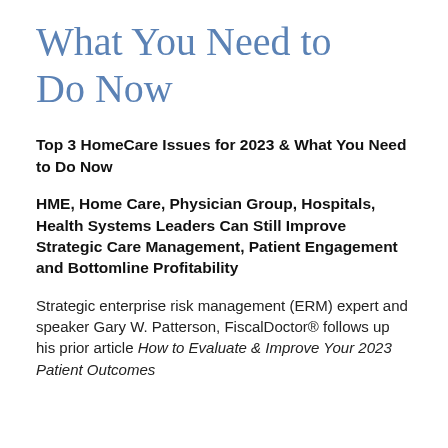What You Need to Do Now
Top 3 HomeCare Issues for 2023 & What You Need to Do Now
HME, Home Care, Physician Group, Hospitals, Health Systems Leaders Can Still Improve Strategic Care Management, Patient Engagement and Bottomline Profitability
Strategic enterprise risk management (ERM) expert and speaker Gary W. Patterson, FiscalDoctor® follows up his prior article How to Evaluate & Improve Your 2023 Patient Outcomes...